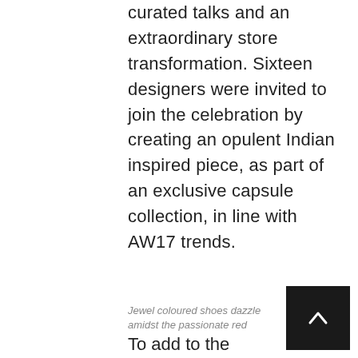curated talks and an extraordinary store transformation. Sixteen designers were invited to join the celebration by creating an opulent Indian inspired piece, as part of an exclusive capsule collection, in line with AW17 trends.
Jewel coloured shoes dazzle amidst the passionate red
To add to the exclusive collections, four of India's celebrated designers join